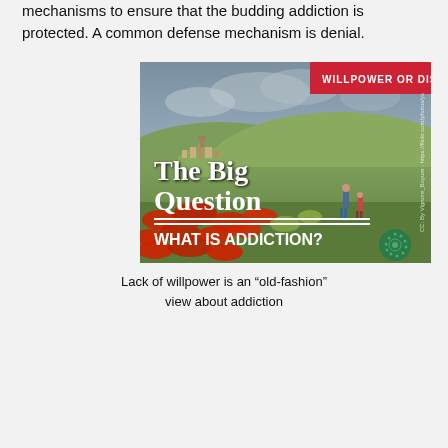mechanisms to ensure that the budding addiction is protected. A common defense mechanism is denial.
[Figure (photo): Image with red banner top-right reading 'WILLPOWER OR DISEASE', landscape photo of rolling hills with red flowers, a village on a hilltop, two people walking. Large white serif text overlay reads 'The Big Question' with a decorative double-line separator and bold text 'WHAT IS ADDICTION?' A green circular logo appears bottom-right.]
Lack of willpower is an “old-fashion” view about addiction